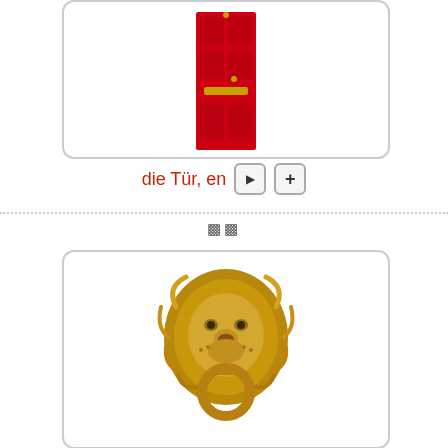[Figure (photo): A red wooden door with brass mail slot, photographed against white background, displayed in a rounded rectangle card]
die Tür, en
[Figure (other): Two small square icon buttons: a play button and a plus button]
🔲🔲
[Figure (photo): A golden brass lion head door knocker with a ring in its mouth, photographed against white background, displayed in a rounded rectangle card]